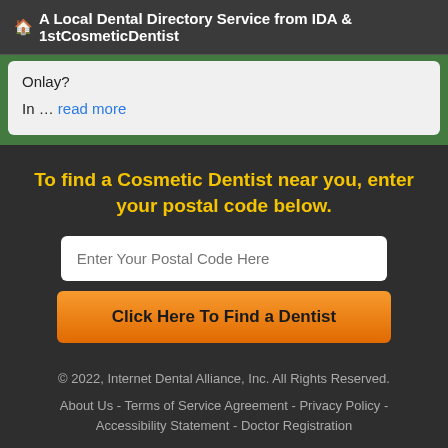🏠 A Local Dental Directory Service from IDA & 1stCosmeticDentist
Onlay?
In … read more
To find a Cosmetic Dentist near you, enter your postal code below.
Enter Your Postal Code Here
Click Here To Find a Dentist
© 2022, Internet Dental Alliance, Inc. All Rights Reserved.
About Us - Terms of Service Agreement - Privacy Policy - Accessibility Statement - Doctor Registration